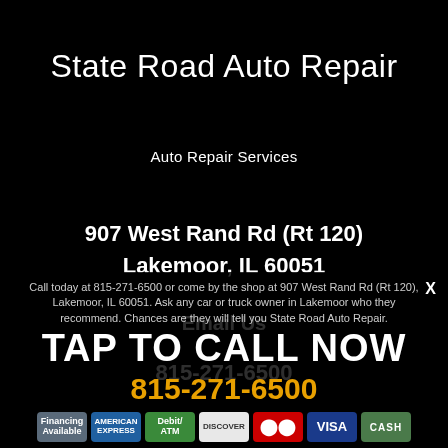State Road Auto Repair
Auto Repair Services
907 West Rand Rd (Rt 120)
Lakemoor, IL 60051
Email Us
815-271-6500
Call today at 815-271-6500 or come by the shop at 907 West Rand Rd (Rt 120), Lakemoor, IL 60051. Ask any car or truck owner in Lakemoor who they recommend. Chances are they will tell you State Road Auto Repair.
TAP TO CALL NOW
815-271-6500
[Figure (infographic): Row of payment method badges: Financing Available, American Express, Debit/ATM, Discover, Mastercard, Visa, Cash]